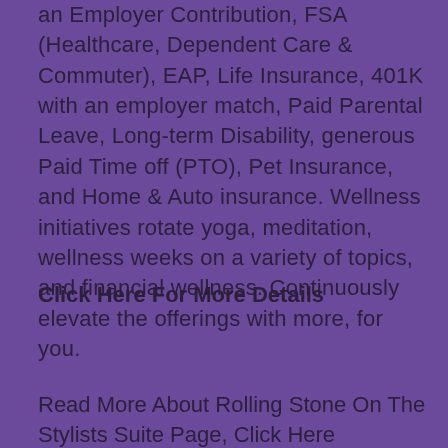an Employer Contribution, FSA (Healthcare, Dependent Care & Commuter), EAP, Life Insurance, 401K with an employer match, Paid Parental Leave, Long-term Disability, generous Paid Time off (PTO), Pet Insurance, and Home & Auto insurance. Wellness initiatives rotate yoga, meditation, wellness weeks on a variety of topics, and financial wellness. Continuously elevate the offerings with more, for you.
Click Here For More Details
Read More About Rolling Stone On The Stylists Suite Page, Click Here